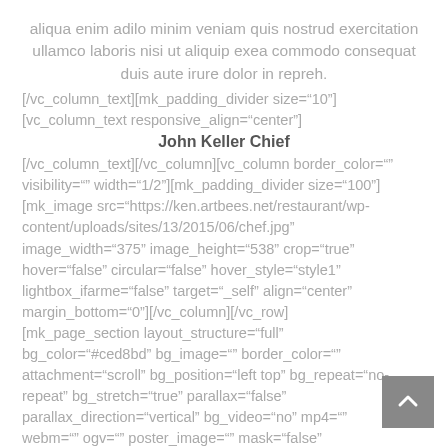aliqua enim adilo minim veniam quis nostrud exercitation ullamco laboris nisi ut aliquip exea commodo consequat duis aute irure dolor in repreh.
[/vc_column_text][mk_padding_divider size="10"] [vc_column_text responsive_align="center"]
John Keller Chief
[/vc_column_text][/vc_column][vc_column border_color="" visibility="" width="1/2"][mk_padding_divider size="100"] [mk_image src="https://ken.artbees.net/restaurant/wp-content/uploads/sites/13/2015/06/chef.jpg" image_width="375" image_height="538" crop="true" hover="false" circular="false" hover_style="style1" lightbox_ifarme="false" target="_self" align="center" margin_bottom="0"][/vc_column][/vc_row] [mk_page_section layout_structure="full" bg_color="#ced8bd" bg_image="" border_color="" attachment="scroll" bg_position="left top" bg_repeat="no-repeat" bg_stretch="true" parallax="false" parallax_direction="vertical" bg_video="no" mp4="" webm="" ogv="" poster_image="" mask="false" color_mask="" mask_opacity="0.6" expandable="false" expandable_txt="" expandable_image=""